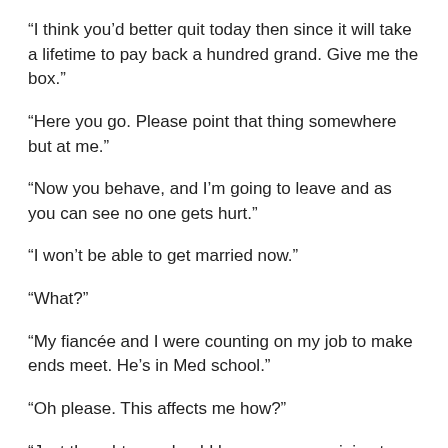“I think you’d better quit today then since it will take a lifetime to pay back a hundred grand. Give me the box.”
“Here you go. Please point that thing somewhere but at me.”
“Now you behave, and I’m going to leave and as you can see no one gets hurt.”
“I won’t be able to get married now.”
“What?”
“My fiancée and I were counting on my job to make ends meet. He’s in Med school.”
“Oh please. This affects me how?”
“Just thought you should know you are ruining two lives.”